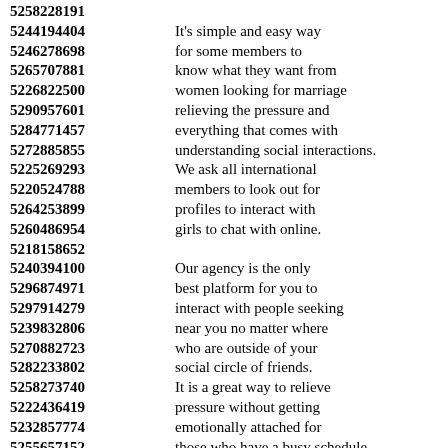5258228191
5244194404 It's simple and easy way 5246278698 for some members to 5265707881 know what they want from 5226822500 women looking for marriage 5290957601 relieving the pressure and 5284771457 everything that comes with 5272885855 understanding social interactions. 5225269293 We ask all international 5220524788 members to look out for 5264253899 profiles to interact with 5260486954 girls to chat with online. 5218158652
5240394100 Our agency is the only 5296874971 best platform for you to 5297914279 interact with people seeking 5239832806 near you no matter where 5270882723 who are outside of your 5282233802 social circle of friends. 5258273740 It is a great way to relieve 5222436419 pressure without getting 5232857774 emotionally attached for 5255657152 those who have a busy schedule 5299711378 and are not willing to 5214704164 be in any kind of relationship